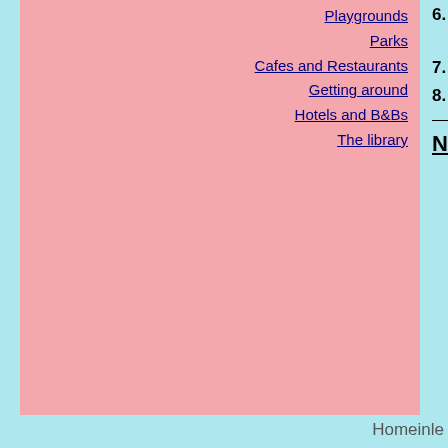Playgrounds
Parks
Cafes and Restaurants
Getting around
Hotels and B&Bs
The library
6. National Narrow-gauge Railway Museum)
7. Sieboldhuis
8. Molen de Put
Naturalis (Natural History)
Homeinle